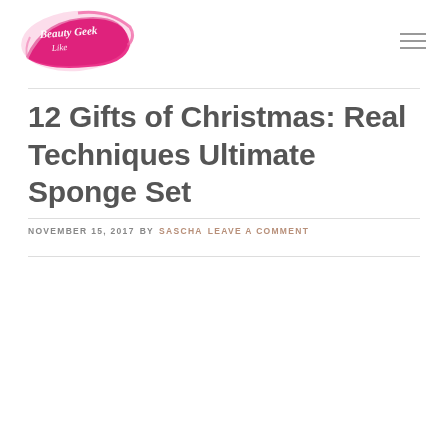Beauty Geek UK logo and navigation
12 Gifts of Christmas: Real Techniques Ultimate Sponge Set
NOVEMBER 15, 2017 BY SASCHA LEAVE A COMMENT